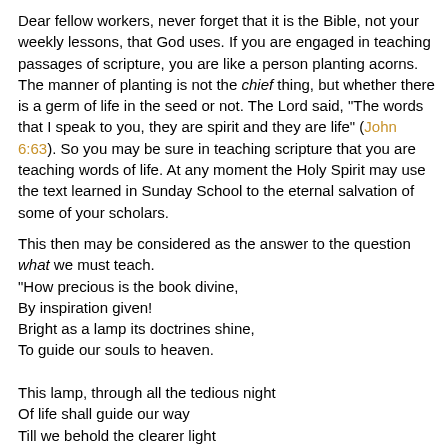Dear fellow workers, never forget that it is the Bible, not your weekly lessons, that God uses. If you are engaged in teaching passages of scripture, you are like a person planting acorns. The manner of planting is not the chief thing, but whether there is a germ of life in the seed or not. The Lord said, "The words that I speak to you, they are spirit and they are life" (John 6:63). So you may be sure in teaching scripture that you are teaching words of life. At any moment the Holy Spirit may use the text learned in Sunday School to the eternal salvation of some of your scholars.
This then may be considered as the answer to the question what we must teach.
"How precious is the book divine,
By inspiration given!
Bright as a lamp its doctrines shine,
To guide our souls to heaven.

This lamp, through all the tedious night
Of life shall guide our way
Till we behold the clearer light
Of an eternal day."
Fawcett.